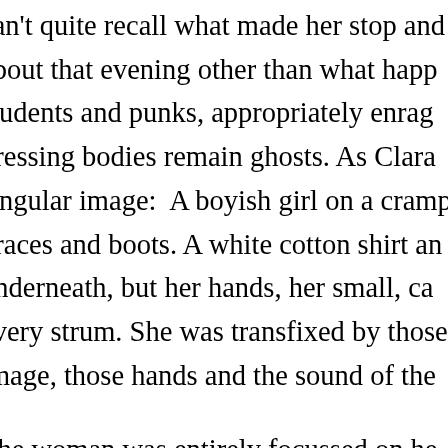can't quite recall what made her stop and about that evening other than what happ students and punks, appropriately enrag pressing bodies remain ghosts. As Clara singular image:  A boyish girl on a cramp braces and boots. A white cotton shirt an underneath, but her hands, her small, ca every strum. She was transfixed by those image, those hands and the sound of the
The woman was entirely focussed on he odds with the loose, frenetic vibe of the r occasionally she broke focus, looked up at those times she seemed joyous, entire dangerous and Clara knew that she mus
In contrast to that first evening, Clara rem together. An anxiety unlike anything she' flailing against her breastplate and how s